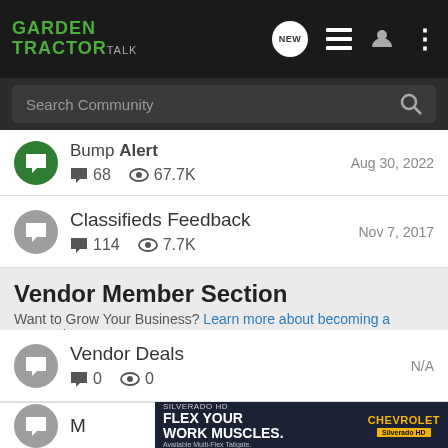Garden Tractor Talk
Search Community
68  67.7K  Aug 30, 2022
Classifieds Feedback  114  7.7K  Nov 7, 2017
Vendor Member Section
Want to Grow Your Business? Learn more about becoming a Supporting or...
Vendor Deals  0  0  N/A
[Figure (screenshot): Chevrolet Silverado HD advertisement banner: FLEX YOUR WORK MUSCLES. Available Multi-Flex Tailgate. Silverado HD.]